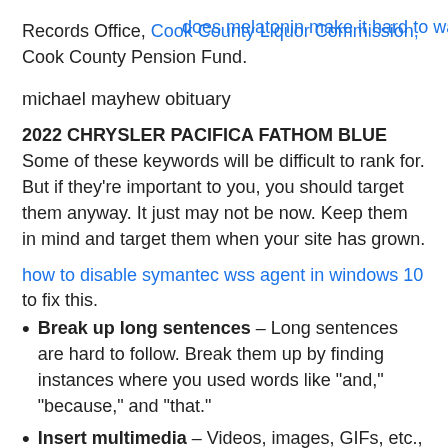Records Office, Cook County Liquor Commission, Cook County Pension Fund.
does melatonin make it hard to wake up
michael mayhew obituary
2022 CHRYSLER PACIFICA FATHOM BLUE Some of these keywords will be difficult to rank for. But if they're important to you, you should target them anyway. It just may not be now. Keep them in mind and target them when your site has grown.
how to disable symantec wss agent in windows 10
to fix this.
Break up long sentences – Long sentences are hard to follow. Break them up by finding instances where you used words like “and,” “because,” and “that.”
Insert multimedia – Videos, images, GIFs, etc.,